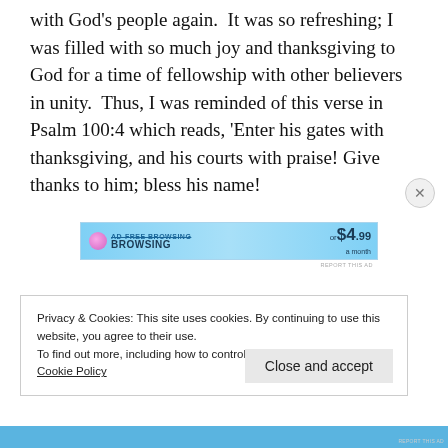with God's people again.  It was so refreshing; I was filled with so much joy and thanksgiving to God for a time of fellowship with other believers in unity.  Thus, I was reminded of this verse in Psalm 100:4 which reads, 'Enter his gates with thanksgiving, and his courts with praise! Give thanks to him; bless his name!
[Figure (screenshot): Advertisement banner for ad-free browsing service, showing price of or $4.99 a month]
Privacy & Cookies: This site uses cookies. By continuing to use this website, you agree to their use.
To find out more, including how to control cookies, see here:
Cookie Policy